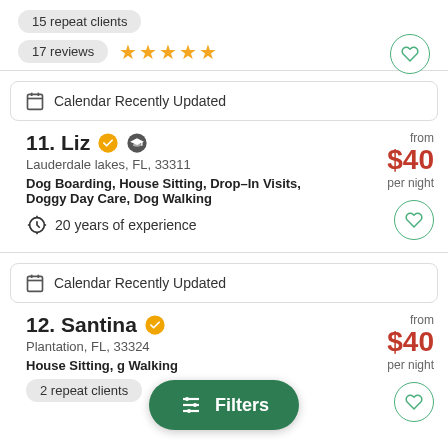15 repeat clients
17 reviews ★★★★★
Calendar Recently Updated
11. Liz
Lauderdale lakes, FL, 33311
Dog Boarding, House Sitting, Drop–In Visits, Doggy Day Care, Dog Walking
from $40 per night
20 years of experience
Calendar Recently Updated
12. Santina
Plantation, FL, 33324
House Sitting, Dog Walking
from $40 per night
2 repeat clients
Filters